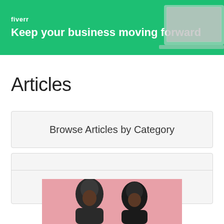[Figure (screenshot): Fiverr banner with green background showing logo and tagline 'Keep your business moving forward' with a laptop image on the right]
Articles
Browse Articles by Category
Featured Articles
[Figure (photo): Photo of two women on a pink background, partially visible at the bottom of the page]